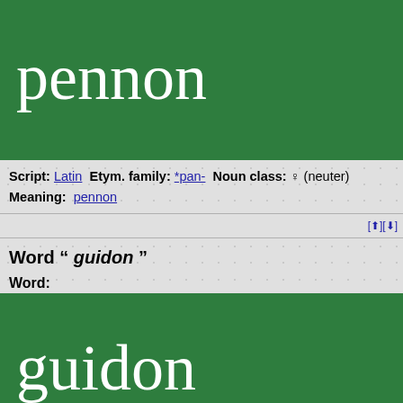pennon
Script: Latin   Etym. family: *pan-   Noun class: ♀ (neuter)
Meaning:   pennon
Word " guidon "
Word:
guidon
Script: Latin   Etym. family: (uniques)   Noun class: ♀ (neuter)
Meaning:   guidon